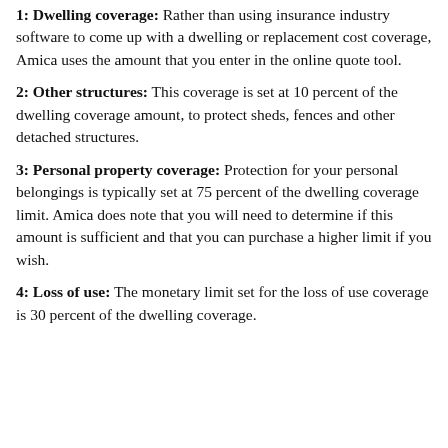1: Dwelling coverage: Rather than using insurance industry software to come up with a dwelling or replacement cost coverage, Amica uses the amount that you enter in the online quote tool.
2: Other structures: This coverage is set at 10 percent of the dwelling coverage amount, to protect sheds, fences and other detached structures.
3: Personal property coverage: Protection for your personal belongings is typically set at 75 percent of the dwelling coverage limit. Amica does note that you will need to determine if this amount is sufficient and that you can purchase a higher limit if you wish.
4: Loss of use: The monetary limit set for the loss of use coverage is 30 percent of the dwelling coverage.